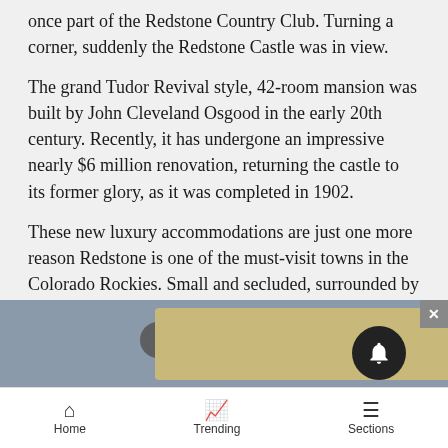once part of the Redstone Country Club. Turning a corner, suddenly the Redstone Castle was in view.
The grand Tudor Revival style, 42-room mansion was built by John Cleveland Osgood in the early 20th century. Recently, it has undergone an impressive nearly $6 million renovation, returning the castle to its former glory, as it was completed in 1902.
These new luxury accommodations are just one more reason Redstone is one of the must-visit towns in the Colorado Rockies. Small and secluded, surrounded by mountains and timeless history in every direction, the small-town charm and environment is what makes Redstone such a unique and desired place to visit.
[Figure (screenshot): Partial view of a mobile app UI showing a video thumbnail with an oval button overlay and a notification bell icon, plus a close button.]
Home   Trending   Sections